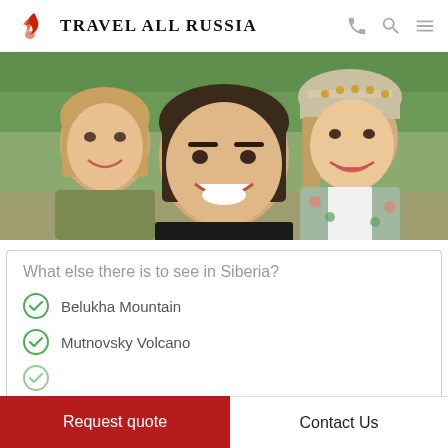TRAVEL ALL RUSSIA
[Figure (photo): Three young women smiling for a selfie outdoors; one on the right wears a traditional Russian headdress/kokoshnik. Green background visible.]
What else there is to see in Siberia?
Belukha Mountain
Mutnovsky Volcano
Request quote
Contact Us